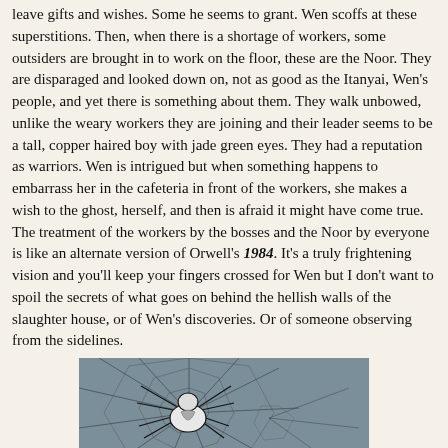leave gifts and wishes. Some he seems to grant. Wen scoffs at these superstitions. Then, when there is a shortage of workers, some outsiders are brought in to work on the floor, these are the Noor. They are disparaged and looked down on, not as good as the Itanyai, Wen's people, and yet there is something about them. They walk unbowed, unlike the weary workers they are joining and their leader seems to be a tall, copper haired boy with jade green eyes. They had a reputation as warriors. Wen is intrigued but when something happens to embarrass her in the cafeteria in front of the workers, she makes a wish to the ghost, herself, and then is afraid it might have come true.
The treatment of the workers by the bosses and the Noor by everyone is like an alternate version of Orwell's 1984. It's a truly frightening vision and you'll keep your fingers crossed for Wen but I don't want to spoil the secrets of what goes on behind the hellish walls of the slaughter house, or of Wen's discoveries. Or of someone observing from the sidelines.
[Figure (illustration): A black and white illustration of a spider on a web against a grey-blue background, rendered in a sketchy/drawn style.]